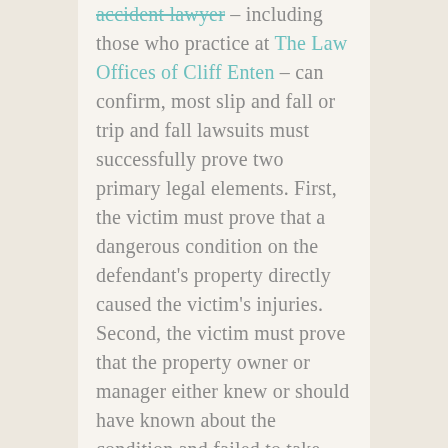accident lawyer – including those who practice at The Law Offices of Cliff Enten – can confirm, most slip and fall or trip and fall lawsuits must successfully prove two primary legal elements. First, the victim must prove that a dangerous condition on the defendant's property directly caused the victim's injuries. Second, the victim must prove that the property owner or manager either knew or should have known about the condition and failed to take proper steps to mitigate the risk of harm.
Essentially, this means that there can be circumstances under which